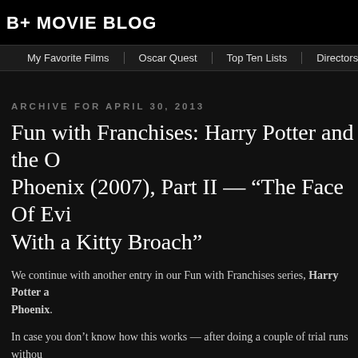B+ MOVIE BLOG
My Favorite Films | Oscar Quest | Top Ten Lists | Directors List | B+ Mo
ARCHIVE FOR APRIL 30, 2013
Fun with Franchises: Harry Potter and the O Phoenix (2007), Part II — “The Face Of Evi With a Kitty Broach”
We continue with another entry in our Fun with Franchises series, Harry Potter a Phoenix.
In case you don’t know how this works — after doing a couple of trial runs withou Bond movies), I realized that I really enjoyed going through movies frame by fra cracking jokes like I would if I was sitting around watching them with friends. So I on the site and enlisted my friend Colin to help (since it’s better when you have a None of this is meant to be any real in-depth analysis. We’re just doing it for com We’re basically just doing what we would normally when talking about this stuff.